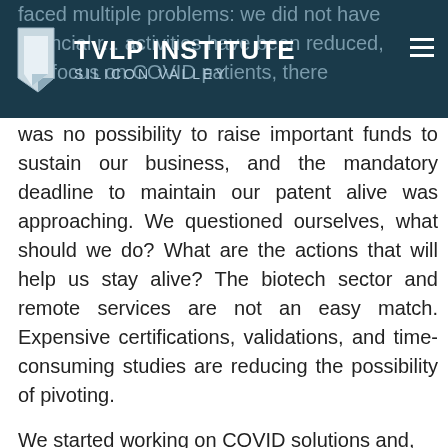TVLP INSTITUTE SILICON VALLEY
was no possibility to raise important funds to sustain our business, and the mandatory deadline to maintain our patent alive was approaching. We questioned ourselves, what should we do? What are the actions that will help us stay alive? The biotech sector and remote services are not an easy match. Expensive certifications, validations, and time-consuming studies are reducing the possibility of pivoting.
We started working on COVID solutions and, luckily, in just a few days, we got supported by investors and our Chinese partner:
The first investor decided to support us financially, just to make us able to overcome the crisis, and this action attracted two other private investors